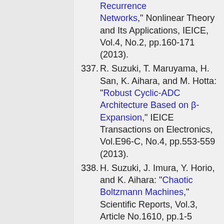(continuation) Recurrence Networks," Nonlinear Theory and Its Applications, IEICE, Vol.4, No.2, pp.160-171 (2013).
337. R. Suzuki, T. Maruyama, H. San, K. Aihara, and M. Hotta: "Robust Cyclic-ADC Architecture Based on β-Expansion," IEICE Transactions on Electronics, Vol.E96-C, No.4, pp.553-559 (2013).
338. H. Suzuki, J. Imura, Y. Horio, and K. Aihara: "Chaotic Boltzmann Machines," Scientific Reports, Vol.3, Article No.1610, pp.1-5 (2013).
339. K. Ejima, K. Aihara, and H. Nishiura: "The